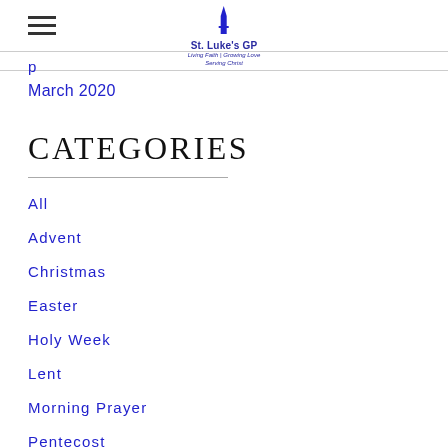St. Luke's GP — Living Faith | Growing Love | Serving Christ
p (partial navigation link)
March 2020
CATEGORIES
All
Advent
Christmas
Easter
Holy Week
Lent
Morning Prayer
Pentecost